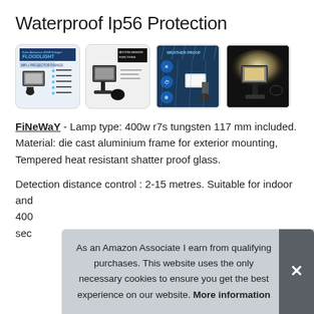Waterproof Ip56 Protection
[Figure (photo): Four product images of a floodlight: 1) Product info sheet showing 'FLOODLIGHT' branding with features listed, 2) Motion sensor floodlight with 'MOTION SENSOR FUNCTIONS' text, 3) 'WEATHER PROOF' blue-themed promotional image showing floodlight in rain, 4) Floodlight illuminated against dark background.]
FiNeWaY - Lamp type: 400w r7s tungsten 117 mm included. Material: die cast aluminium frame for exterior mounting, Tempered heat resistant shatter proof glass.
Detection distance control : 2-15 metres. Suitable for indoor and [partially obscured] 400 [partially obscured] sec [partially obscured]
As an Amazon Associate I earn from qualifying purchases. This website uses the only necessary cookies to ensure you get the best experience on our website. More information